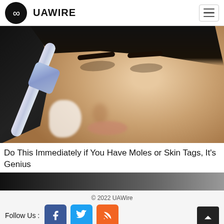UAWIRE
[Figure (photo): A woman with dark hair applying something white (toothpaste or cream) to her nose with a toothbrush]
Do This Immediately if You Have Moles or Skin Tags, It's Genius
[Figure (photo): Partial view of a second article image (dark, partially visible)]
© 2022 UAWire
Follow Us :